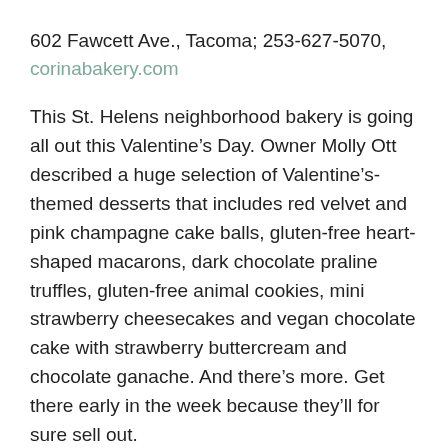602 Fawcett Ave., Tacoma; 253-627-5070, corinabakery.com
This St. Helens neighborhood bakery is going all out this Valentine’s Day. Owner Molly Ott described a huge selection of Valentine’s-themed desserts that includes red velvet and pink champagne cake balls, gluten-free heart-shaped macarons, dark chocolate praline truffles, gluten-free animal cookies, mini strawberry cheesecakes and vegan chocolate cake with strawberry buttercream and chocolate ganache. And there’s more. Get there early in the week because they’ll for sure sell out.